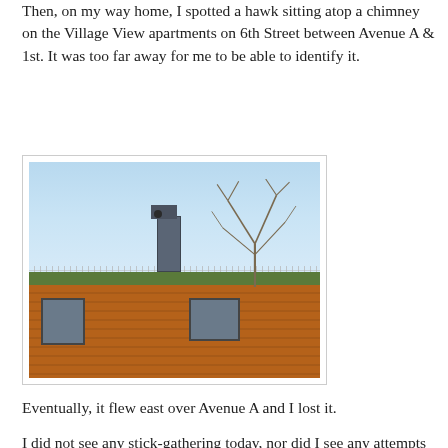Then, on my way home, I spotted a hawk sitting atop a chimney on the Village View apartments on 6th Street between Avenue A & 1st.  It was too far away for me to be able to identify it.
[Figure (photo): Photograph of a red brick apartment building rooftop with a chain-link fence along the roof edge, bare trees against a clear blue sky in the background, and a hawk visible sitting atop a chimney structure.]
Eventually, it flew east over Avenue A and I lost it.
I did not see any stick-gathering today, nor did I see any attempts at mating.  I take this to mean the hawks' nesting plan has been thwarted, so they're taking a break until a new site is found.  If anyone sees them flying with sticks or